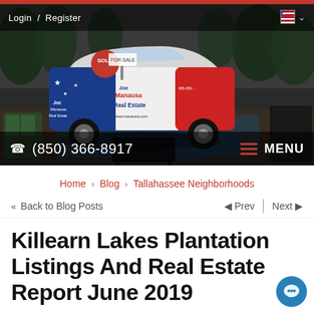[Figure (photo): Joe Manausa Real Estate branded car (Kia Soul) in red, white, and blue wrap with SOLD sign, parked in outdoor patio area. Navigation bar with Login/Register and flag. Phone number (850) 366-8917 and MENU at bottom.]
Home › Blog › Tallahassee Neighborhoods
« Back to Blog Posts
◄ Prev | Next ►
Killearn Lakes Plantation Listings And Real Estate Report June 2019